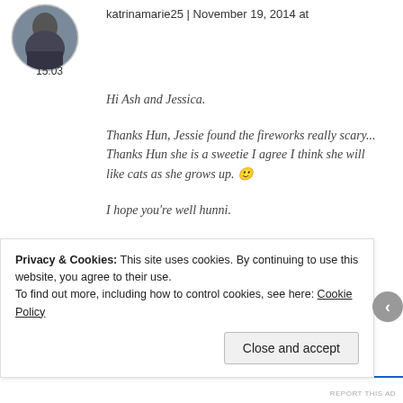[Figure (photo): Avatar photo of a person sitting outdoors]
15:03
katrinamarie25 | November 19, 2014 at
Hi Ash and Jessica.

Thanks Hun, Jessie found the fireworks really scary... Thanks Hun she is a sweetie I agree I think she will like cats as she grows up. 🙂

I hope you're well hunni.

Take care.
Jessie and Katie.
Reply
Privacy & Cookies: This site uses cookies. By continuing to use this website, you agree to their use.
To find out more, including how to control cookies, see here: Cookie Policy
Close and accept